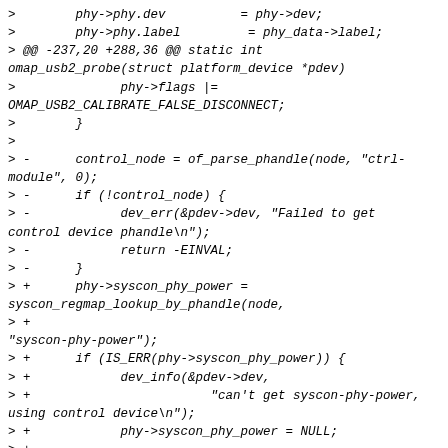>        phy->phy.dev          = phy->dev;
>        phy->phy.label         = phy_data->label;
> @@ -237,20 +288,36 @@ static int omap_usb2_probe(struct platform_device *pdev)
>              phy->flags |=
OMAP_USB2_CALIBRATE_FALSE_DISCONNECT;
>        }
>
> -      control_node = of_parse_phandle(node, "ctrl-module", 0);
> -      if (!control_node) {
> -            dev_err(&pdev->dev, "Failed to get control device phandle\n");
> -            return -EINVAL;
> -      }
> +      phy->syscon_phy_power =
syscon_regmap_lookup_by_phandle(node,
> +
"syscon-phy-power");
> +      if (IS_ERR(phy->syscon_phy_power)) {
> +            dev_info(&pdev->dev,
> +                        "can't get syscon-phy-power, using control device\n");
> +            phy->syscon_phy_power = NULL;
> +
> +            control_node = of_parse_phandle(node, "ctrl-module", 0);
> +            if (!control_node) {
> +                  dev_err(&pdev->dev,
> +                           "Failed to get control